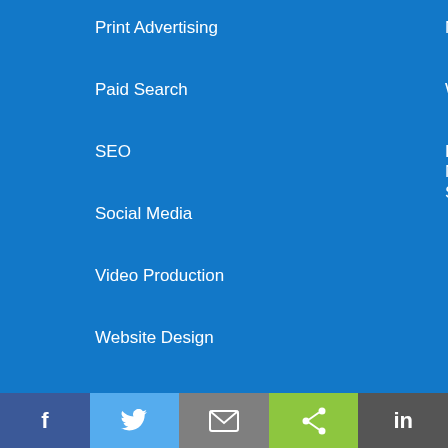Print Advertising
Paid Search
SEO
Social Media
Video Production
Website Design
Newsletter
Webinars
Digital Marketing Survey
Industries
Automotive
Education
Entertainment
Finance
Funeral Services
Furniture